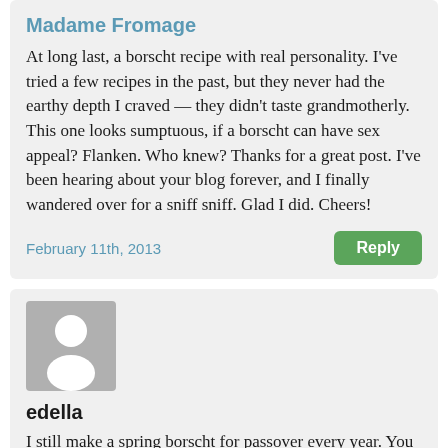Madame Fromage
At long last, a borscht recipe with real personality. I've tried a few recipes in the past, but they never had the earthy depth I craved — they didn't taste grandmotherly. This one looks sumptuous, if a borscht can have sex appeal? Flanken. Who knew? Thanks for a great post. I've been hearing about your blog forever, and I finally wandered over for a sniff sniff. Glad I did. Cheers!
February 11th, 2013
[Figure (illustration): Default user avatar: grey square with white silhouette of a person]
edella
I still make a spring borscht for passover every year. You start a few months beforehand, and quarter beets and steep them in filtered water, being caareful it doesn't get